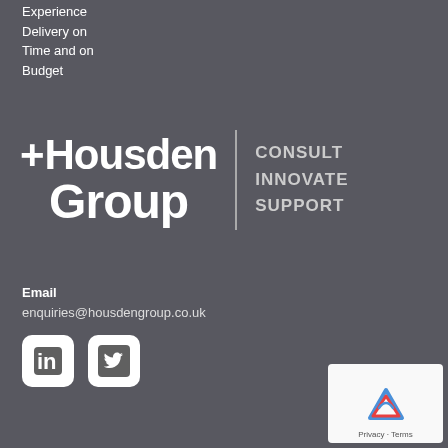Experience
Delivery on
Time and on
Budget
[Figure (logo): Housden Group logo with '+Housden Group' text and 'CONSULT INNOVATE SUPPORT' tagline, separated by a vertical divider line]
Email
enquiries@housdengroup.co.uk
[Figure (other): LinkedIn and Twitter social media icons (white rounded square icons)]
[Figure (other): reCAPTCHA badge with logo and Privacy - Terms text]